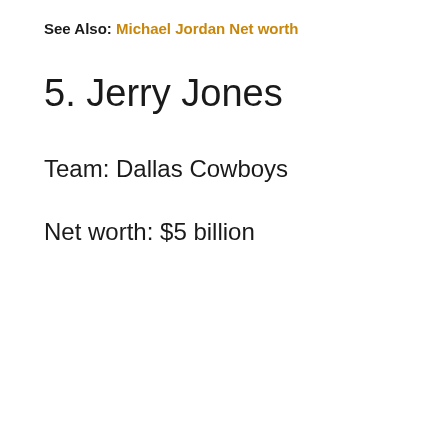See Also: Michael Jordan Net worth
5. Jerry Jones
Team: Dallas Cowboys
Net worth: $5 billion